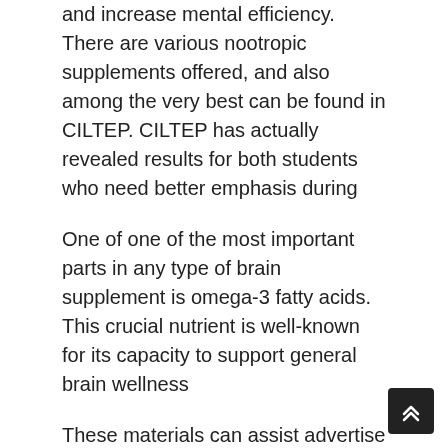and increase mental efficiency. There are various nootropic supplements offered, and also among the very best can be found in CILTEP. CILTEP has actually revealed results for both students who need better emphasis during
One of one of the most important parts in any type of brain supplement is omega-3 fatty acids. This crucial nutrient is well-known for its capacity to support general brain wellness
These materials can assist advertise healthy and balanced brain cells and enhance blood flow to the brain, which can sustain total cognitive function and also aid avoid age-related memory loss. If you're seeking a premium brain supplement, it is very important to choose one which contains medically shown ingredients in efficient does.
MIND LABORATORY PRO